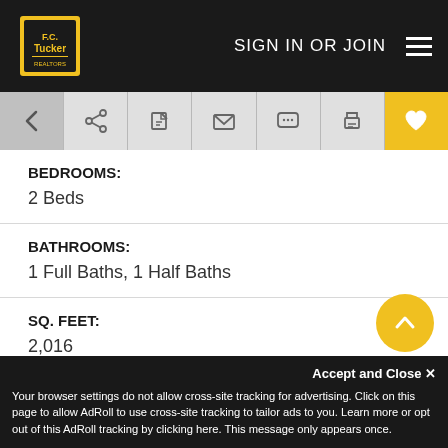F.C. Tucker | SIGN IN OR JOIN
BEDROOMS:
2 Beds
BATHROOMS:
1 Full Baths, 1 Half Baths
SQ. FEET:
2,016
YEAR BUILT:
1900
LOT SIZE:
2.00
COUNTY:
Accept and Close ✕
Your browser settings do not allow cross-site tracking for advertising. Click on this page to allow AdRoll to use cross-site tracking to tailor ads to you. Learn more or opt out of this AdRoll tracking by clicking here. This message only appears once.